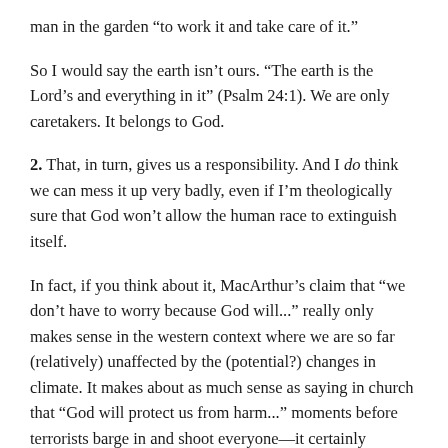man in the garden “to work it and take care of it.”
So I would say the earth isn’t ours. “The earth is the Lord’s and everything in it” (Psalm 24:1). We are only caretakers. It belongs to God.
2. That, in turn, gives us a responsibility. And I do think we can mess it up very badly, even if I’m theologically sure that God won’t allow the human race to extinguish itself.
In fact, if you think about it, MacArthur’s claim that “we don’t have to worry because God will...” really only makes sense in the western context where we are so far (relatively) unaffected by the (potential?) changes in climate. It makes about as much sense as saying in church that “God will protect us from harm...” moments before terrorists barge in and shoot everyone—it certainly seemed true before the bullets started flying.